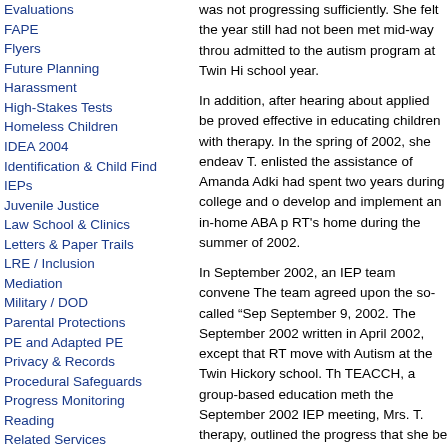Evaluations
FAPE
Flyers
Future Planning
Harassment
High-Stakes Tests
Homeless Children
IDEA 2004
Identification & Child Find
IEPs
Juvenile Justice
Law School & Clinics
Letters & Paper Trails
LRE / Inclusion
Mediation
Military / DOD
Parental Protections
PE and Adapted PE
Privacy & Records
Procedural Safeguards
Progress Monitoring
Reading
Related Services
Research Based Instruction
Response to Intervention (RTI)
Restraints / Seclusion and Abuse
Retention
Retaliation
School Report Cards
was not progressing sufficiently. She felt the year still had not been met mid-way through admitted to the autism program at Twin Hi school year.
In addition, after hearing about applied be proved effective in educating children with therapy. In the spring of 2002, she endeav T. enlisted the assistance of Amanda Adki had spent two years during college and o develop and implement an in-home ABA p RT's home during the summer of 2002.
In September 2002, an IEP team convene The team agreed upon the so-called “Sep September 9, 2002. The September 2002 written in April 2002, except that RT move with Autism at the Twin Hickory school. Th TEACCH, a group-based education meth the September 2002 IEP meeting, Mrs. T. therapy, outlined the progress that she be over the summer, and requested that ABA noted that request, but rejected it with the existing IEP goals under the TEACCH pro present level of performance could be aco
In the summer of 2002, the parent's belie program and was not likely to make progr the same time that they worked to develo RT to attend the Faison School, a private delayed children that employs ABA thera